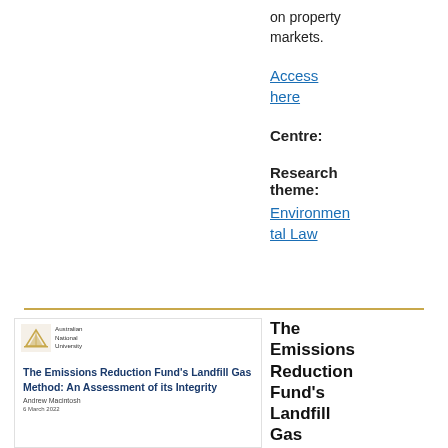on property markets.
Access here
Centre:
Research theme:
Environmental Law
[Figure (other): Book cover of 'The Emissions Reduction Fund's Landfill Gas Method: An Assessment of its Integrity' by Andrew Macintosh, published March 2022, with Australian National University logo]
The Emissions Reduction Fund's Landfill Gas Method: An Assessment of its